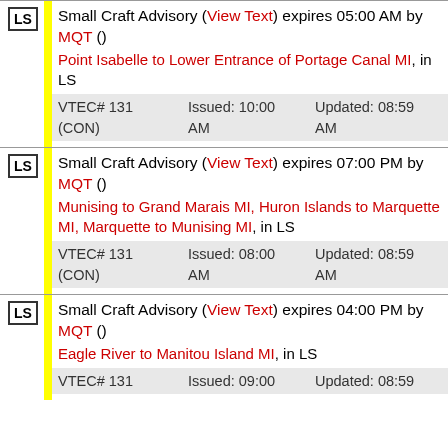Small Craft Advisory (View Text) expires 05:00 AM by MQT () Point Isabelle to Lower Entrance of Portage Canal MI, in LS VTEC# 131 (CON) Issued: 10:00 AM Updated: 08:59 AM
Small Craft Advisory (View Text) expires 07:00 PM by MQT () Munising to Grand Marais MI, Huron Islands to Marquette MI, Marquette to Munising MI, in LS VTEC# 131 (CON) Issued: 08:00 AM Updated: 08:59 AM
Small Craft Advisory (View Text) expires 04:00 PM by MQT () Eagle River to Manitou Island MI, in LS VTEC# 131 Issued: 09:00 Updated: 08:59